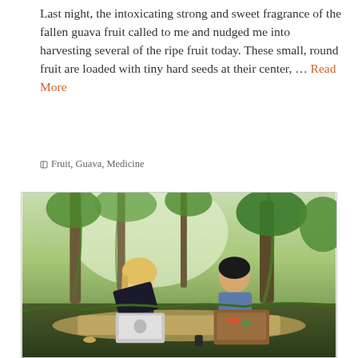Last night, the intoxicating strong and sweet fragrance of the fallen guava fruit called to me and nudged me into harvesting several of the ripe fruit today. These small, round fruit are loaded with tiny hard seeds at their center, … Read More
🏷 Fruit, Guava, Medicine
[Figure (photo): Two people sitting on a mat outdoors in a lush green forest setting, each working on a laptop computer. A woman with blonde hair in a dark top and a man in a blue checked shirt.]